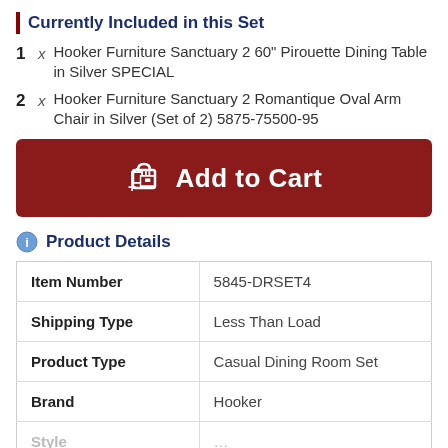Currently Included in this Set
1 x Hooker Furniture Sanctuary 2 60" Pirouette Dining Table in Silver SPECIAL
2 x Hooker Furniture Sanctuary 2 Romantique Oval Arm Chair in Silver (Set of 2) 5875-75500-95
Add to Cart
Product Details
|  |  |
| --- | --- |
| Item Number | 5845-DRSET4 |
| Shipping Type | Less Than Load |
| Product Type | Casual Dining Room Set |
| Brand | Hooker |
| Style | ... |